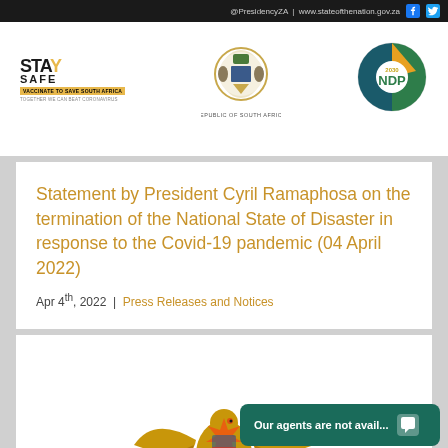@PresidencyZA | www.stateofthenation.gov.za
[Figure (logo): Stay Safe - Vaccinate to Save South Africa logo]
[Figure (logo): Republic of South Africa coat of arms logo]
[Figure (logo): NDP 2030 logo]
Statement by President Cyril Ramaphosa on the termination of the National State of Disaster in response to the Covid-19 pandemic (04 April 2022)
Apr 4th, 2022 | Press Releases and Notices
[Figure (illustration): South Africa coat of arms - gold eagle with spread wings and orange sunburst]
Our agents are not avail...